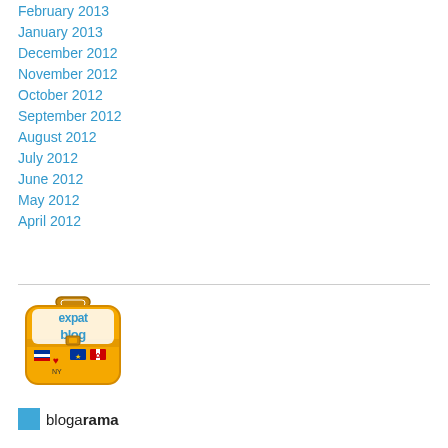February 2013
January 2013
December 2012
November 2012
October 2012
September 2012
August 2012
July 2012
June 2012
May 2012
April 2012
[Figure (logo): Expat Blog badge - orange suitcase with 'expat blog' text and travel stickers]
blogarama